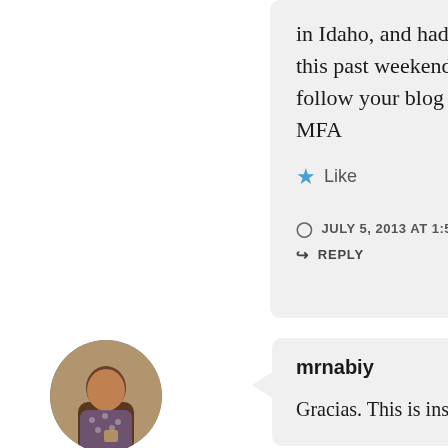in Idaho, and had coffee with him this past weekend; encouraged him to follow your blog and consider an MFA
Like
JULY 5, 2013 AT 1:54 PM
REPLY
[Figure (photo): Circular avatar photo of a man wearing a patterned shirt, holding a cup]
mrnabiy
Gracias. This is inspiring